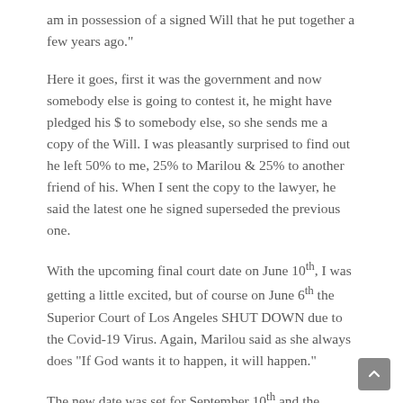am in possession of a signed Will that he put together a few years ago."
Here it goes, first it was the government and now somebody else is going to contest it, he might have pledged his $ to somebody else, so she sends me a copy of the Will.  I was pleasantly surprised to find out he left 50% to me, 25% to Marilou & 25% to another friend of his. When I sent the copy to the lawyer, he said the latest one he signed superseded the previous one.
With the upcoming final court date on June 10th, I was getting a little excited, but of course on June 6th the Superior Court of Los Angeles SHUT DOWN due to the Covid-19 Virus.  Again, Marilou said as she always does "If God wants it to happen, it will happen."
The new date was set for September 10th and the lawyer said